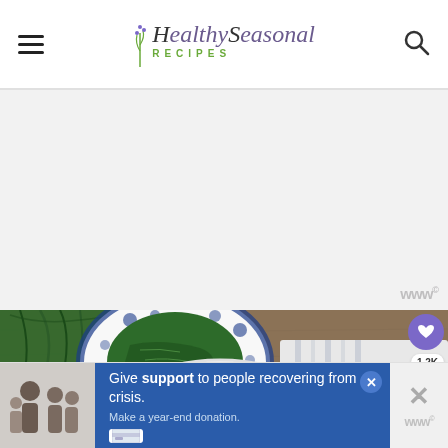Healthy Seasonal Recipes
[Figure (other): Gray advertisement placeholder area with watermark 'www' in bottom right]
[Figure (photo): Overhead food photography showing a blue and white floral plate with chopped herb salad, fresh carrot tops, roasted carrots with lemon on a white plate, striped cloth napkin on rustic wooden table. Heart/save button showing 1.2K, share button.]
[Figure (other): Bottom advertisement banner: family photo on left, blue background with text 'Give support to people recovering from crisis. Make a year-end donation.' with close X button and credit card icon. Right side shows gray X and www watermark.]